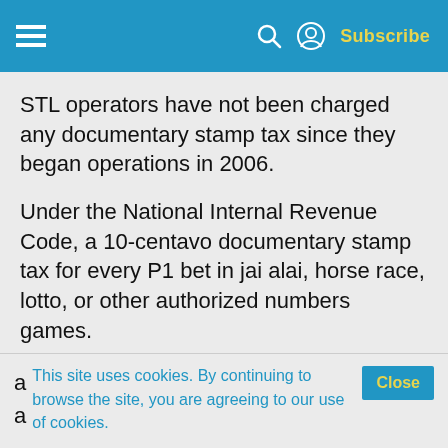Subscribe
STL operators have not been charged any documentary stamp tax since they began operations in 2006.
Under the National Internal Revenue Code, a 10-centavo documentary stamp tax for every P1 bet in jai alai, horse race, lotto, or other authorized numbers games.
BIR commissioner Kim Henares said STL operators must pay the documentary stamp tax including the
This site uses cookies. By continuing to browse the site, you are agreeing to our use of cookies.